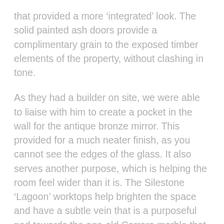that provided a more 'integrated' look. The solid painted ash doors provide a complimentary grain to the exposed timber elements of the property, without clashing in tone.
As they had a builder on site, we were able to liaise with him to create a pocket in the wall for the antique bronze mirror. This provided for a much neater finish, as you cannot see the edges of the glass. It also serves another purpose, which is helping the room feel wider than it is. The Silestone ‘Lagoon’ worktops help brighten the space and have a subtle vein that is a purposeful nod towards the age-old Carrara marble that was often adorned in past century properties.
Under the stairs, we created multiple concealed storage units with a tongue & groove door style,